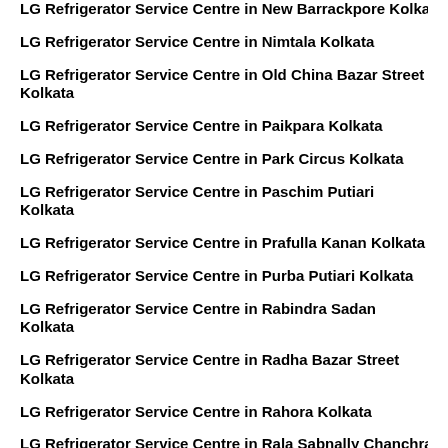LG Refrigerator Service Centre in New Barrackpore Kolkata
LG Refrigerator Service Centre in Nimtala Kolkata
LG Refrigerator Service Centre in Old China Bazar Street Kolkata
LG Refrigerator Service Centre in Paikpara Kolkata
LG Refrigerator Service Centre in Park Circus Kolkata
LG Refrigerator Service Centre in Paschim Putiari Kolkata
LG Refrigerator Service Centre in Prafulla Kanan Kolkata
LG Refrigerator Service Centre in Purba Putiari Kolkata
LG Refrigerator Service Centre in Rabindra Sadan Kolkata
LG Refrigerator Service Centre in Radha Bazar Street Kolkata
LG Refrigerator Service Centre in Rahora Kolkata
LG Refrigerator Service Centre in Rala Sabnally Chanchra Mallik...